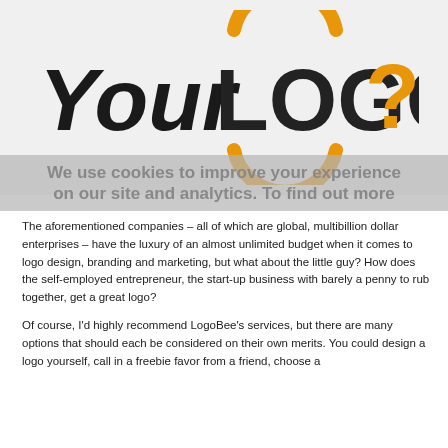[Figure (logo): YourLOGO? logo — stylized handwritten 'Your' in black, bold 'LOGO' in dark gray/black with an orange circular arc above and below the 'O', and an orange question mark at the end, on a light gray background]
We use cookies to improve your experience on our site and analytics. To find out more
The aforementioned companies – all of which are global, multibillion dollar enterprises – have the luxury of an almost unlimited budget when it comes to logo design, branding and marketing, but what about the little guy? How does the self-employed entrepreneur, the start-up business with barely a penny to rub together, get a great logo?
Of course, I'd highly recommend LogoBee's services, but there are many options that should each be considered on their own merits. You could design a logo yourself, call in a freebie favor from a friend, choose a